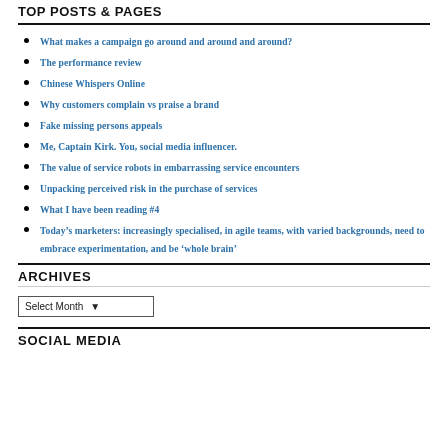TOP POSTS & PAGES
What makes a campaign go around and around and around?
The performance review
Chinese Whispers Online
Why customers complain vs praise a brand
Fake missing persons appeals
Me, Captain Kirk. You, social media influencer.
The value of service robots in embarrassing service encounters
Unpacking perceived risk in the purchase of services
What I have been reading #4
Today’s marketers: increasingly specialised, in agile teams, with varied backgrounds, need to embrace experimentation, and be ‘whole brain’
ARCHIVES
Select Month
SOCIAL MEDIA